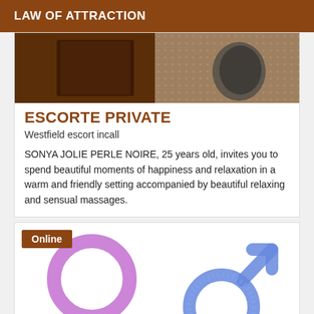LAW OF ATTRACTION
[Figure (photo): Interior room photo showing dark wooden furniture and patterned carpet/flooring]
ESCORTE PRIVATE
Westfield escort incall
SONYA JOLIE PERLE NOIRE, 25 years old, invites you to spend beautiful moments of happiness and relaxation in a warm and friendly setting accompanied by beautiful relaxing and sensual massages.
[Figure (illustration): Gender symbols: pink/purple female symbol on left, blue male symbol on right, made of small textured dots/beads on white background. Online badge shown top-left.]